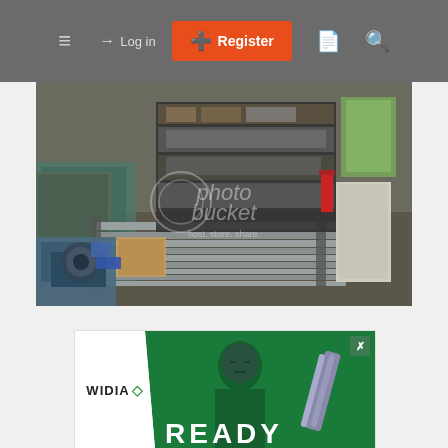[Figure (screenshot): Website navigation bar with hamburger menu, Log in link, orange Register button, and search icons on a gray background]
[Figure (photo): Workshop or machine shop interior showing metal stock/rods on racks, shelving with parts and boxes, machinery in foreground, with Photobucket watermark overlay]
[Figure (photo): WIDIA advertisement banner showing a man holding a drill bit on a green background with 'READY' text, and WIDIA logo on white left panel with a close X button]